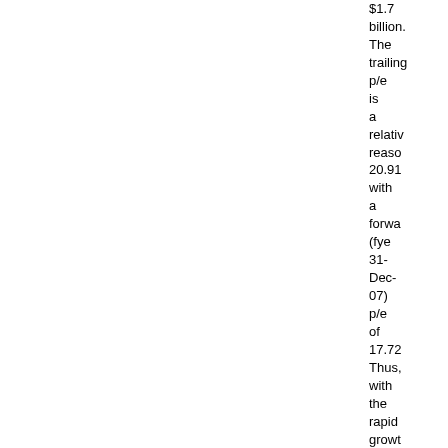$1.7 billion. The trailing p/e is a relatively reasonable 20.91 with a forward (fye 31-Dec-07) p/e of 17.72. Thus, with the rapid growth in earnings expected (5...